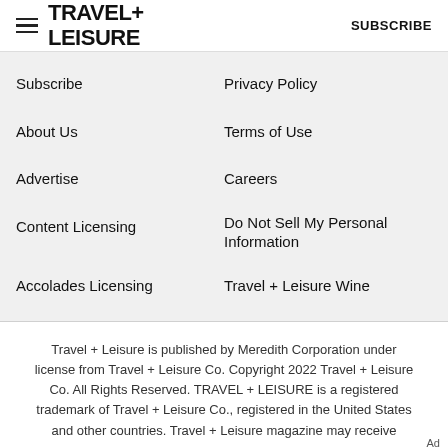TRAVEL + LEISURE  SUBSCRIBE
Subscribe
Privacy Policy
About Us
Terms of Use
Advertise
Careers
Content Licensing
Do Not Sell My Personal Information
Accolades Licensing
Travel + Leisure Wine
Travel + Leisure is published by Meredith Corporation under license from Travel + Leisure Co. Copyright 2022 Travel + Leisure Co. All Rights Reserved. TRAVEL + LEISURE is a registered trademark of Travel + Leisure Co., registered in the United States and other countries. Travel + Leisure magazine may receive